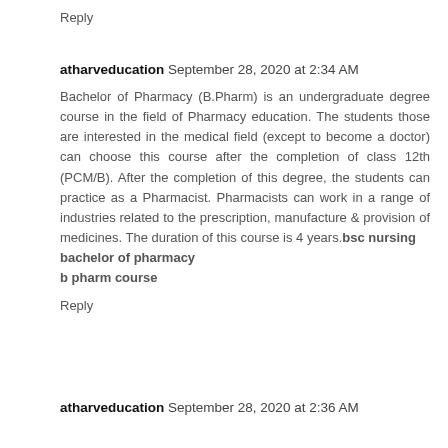Reply
atharveducation September 28, 2020 at 2:34 AM
Bachelor of Pharmacy (B.Pharm) is an undergraduate degree course in the field of Pharmacy education. The students those are interested in the medical field (except to become a doctor) can choose this course after the completion of class 12th (PCM/B). After the completion of this degree, the students can practice as a Pharmacist. Pharmacists can work in a range of industries related to the prescription, manufacture & provision of medicines. The duration of this course is 4 years.bsc nursing
bachelor of pharmacy
b pharm course
Reply
atharveducation September 28, 2020 at 2:36 AM